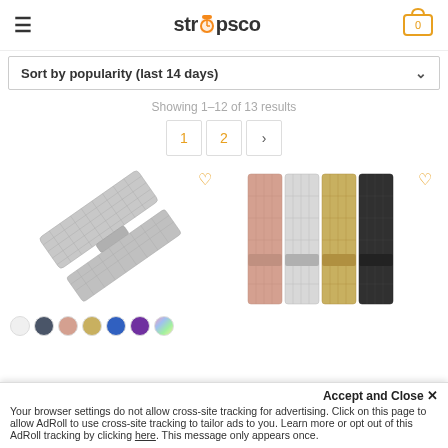strapsco — Navigation header with hamburger menu and cart icon showing 0
Sort by popularity (last 14 days)
Showing 1–12 of 13 results
1  2  >
[Figure (photo): Silver mesh watch strap band shown diagonally with color swatches below (white, dark gray, rose gold, gold, blue, purple, rainbow)]
[Figure (photo): Four mesh watch strap bands in rose gold, silver, gold, and black shown vertically side by side]
Accept and Close ×
Your browser settings do not allow cross-site tracking for advertising. Click on this page to allow AdRoll to use cross-site tracking to tailor ads to you. Learn more or opt out of this AdRoll tracking by clicking here. This message only appears once.